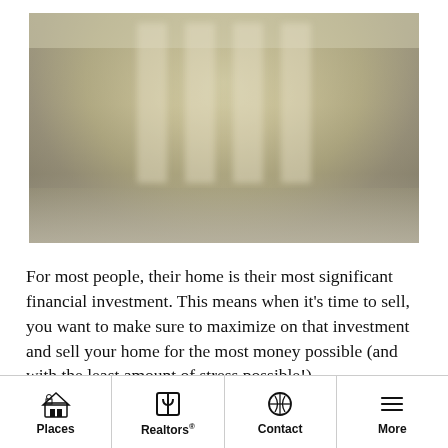[Figure (photo): Blurred exterior photo of a building or home, with columns or pillars visible, muted yellow-grey tones.]
For most people, their home is their most significant financial investment. This means when it's time to sell, you want to make sure to maximize on that investment and sell your home for the most money possible (and with the least amount of stress possible!).
Places | Realtors® | Contact | More